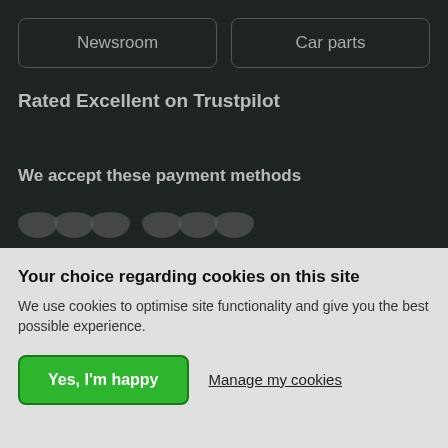Newsroom
Car parts
Rated Excellent on Trustpilot
We accept these payment methods
[Figure (illustration): Payment method icons (overlapping circles representing payment logos)]
Your choice regarding cookies on this site
We use cookies to optimise site functionality and give you the best possible experience.
Yes, I'm happy
Manage my cookies